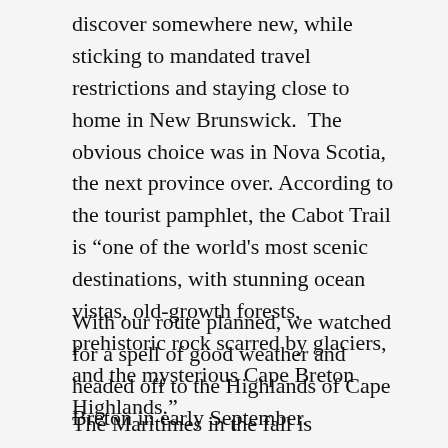discover somewhere new, while sticking to mandated travel restrictions and staying close to home in New Brunswick.  The obvious choice was in Nova Scotia, the next province over. According to the tourist pamphlet, the Cabot Trail is “one of the world's most scenic destinations, with stunning ocean vistas, old-growth forests, prehistoric rock scarred by glaciers, and the mysterious Cape Breton Highlands.”
With our route planned, we watched for a spell of good weather and headed off to the Highlands of Cape Breton in early September.
The Maritimes in the fall is beautiful, the